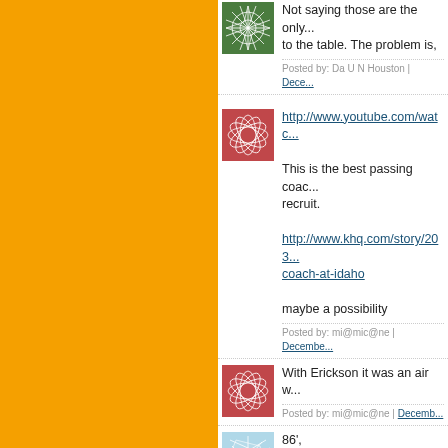[Figure (illustration): Green geometric avatar with starburst/snowflake pattern]
Not saying those are the only... to the table. The problem is,
Posted by: Da U N Houston | Dece...
[Figure (illustration): Pink/red geometric avatar with leaf/flower pattern]
http://www.youtube.com/watc...
This is the best passing coac... recruit.
http://www.khq.com/story/203... coach-at-idaho
maybe a possibility
Posted by: mi@mic@ne | Decembe...
[Figure (illustration): Pink/red geometric avatar with leaf/flower pattern]
With Erickson it was an air w...
Posted by: mi@mic@ne | Decemb...
[Figure (illustration): Light blue/white geometric avatar with angular pattern]
86',
What Donna thinks, doesn't m... get. I believe he might have [